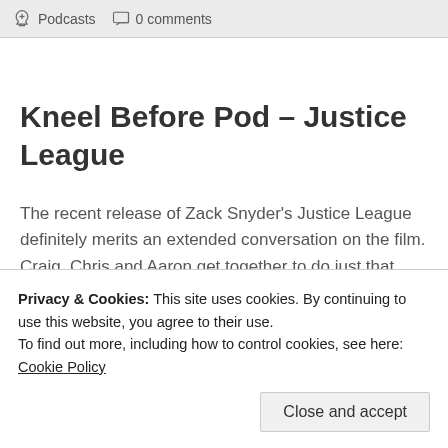Podcasts   0 comments
Kneel Before Pod – Justice League
The recent release of Zack Snyder's Justice League definitely merits an extended conversation on the film. Craig, Chris and Aaron get together to do just that. Their discussion covers a range of topics from good/bad characterisation, production issues, DC films in general and moustaches. As always there are tangents and the discussion is very comprehensive.
Privacy & Cookies: This site uses cookies. By continuing to use this website, you agree to their use.
To find out more, including how to control cookies, see here: Cookie Policy
Close and accept